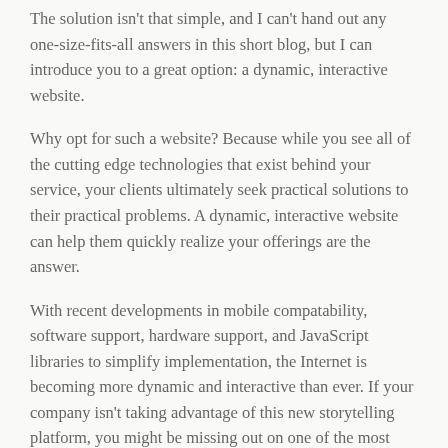The solution isn't that simple, and I can't hand out any one-size-fits-all answers in this short blog, but I can introduce you to a great option: a dynamic, interactive website.
Why opt for such a website? Because while you see all of the cutting edge technologies that exist behind your service, your clients ultimately seek practical solutions to their practical problems. A dynamic, interactive website can help them quickly realize your offerings are the answer.
With recent developments in mobile compatability, software support, hardware support, and JavaScript libraries to simplify implementation, the Internet is becoming more dynamic and interactive than ever. If your company isn't taking advantage of this new storytelling platform, you might be missing out on one of the most important portions of your marketing efforts. Interactive websites can tell your story in a much more attention-grabbing, informative